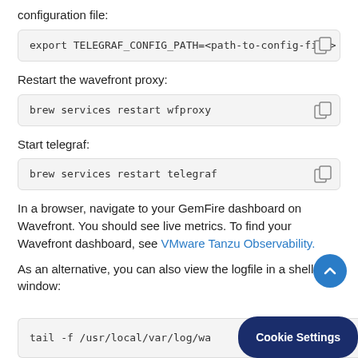configuration file:
export TELEGRAF_CONFIG_PATH=<path-to-config-file>
Restart the wavefront proxy:
brew services restart wfproxy
Start telegraf:
brew services restart telegraf
In a browser, navigate to your GemFire dashboard on Wavefront. You should see live metrics. To find your Wavefront dashboard, see VMware Tanzu Observability.
As an alternative, you can also view the logfile in a shell window:
tail -f /usr/local/var/log/wa